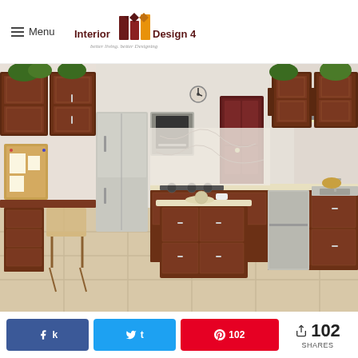Menu | Interior Design 4 — better living, better Designing
[Figure (photo): Interior design kitchen render showing dark mahogany cabinets, stainless steel appliances, center island, marble-look countertops, and tiled floor]
[Figure (photo): Partial view of another interior room — warm orange tones, wooden cabinets visible]
102 SHARES — Share on Facebook, Tweet on Twitter, Pin on Pinterest, Share